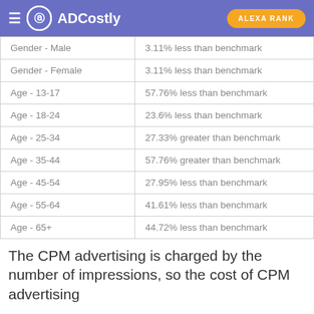ADCostly | ALEXA RANK
| Category | Benchmark Comparison |
| --- | --- |
| Gender - Male | 3.11% less than benchmark |
| Gender - Female | 3.11% less than benchmark |
| Age - 13-17 | 57.76% less than benchmark |
| Age - 18-24 | 23.6% less than benchmark |
| Age - 25-34 | 27.33% greater than benchmark |
| Age - 35-44 | 57.76% greater than benchmark |
| Age - 45-54 | 27.95% less than benchmark |
| Age - 55-64 | 41.61% less than benchmark |
| Age - 65+ | 44.72% less than benchmark |
The CPM advertising is charged by the number of impressions, so the cost of CPM advertising